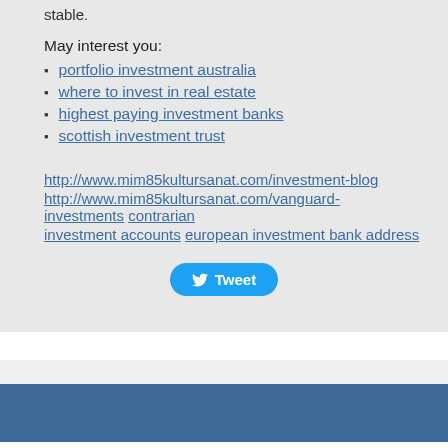stable.
May interest you:
portfolio investment australia
where to invest in real estate
highest paying investment banks
scottish investment trust
http://www.mim85kultursanat.com/investment-blog
http://www.mim85kultursanat.com/vanguard-investments contrarian investment accounts european investment bank address
[Figure (other): Tweet button with Twitter bird icon]